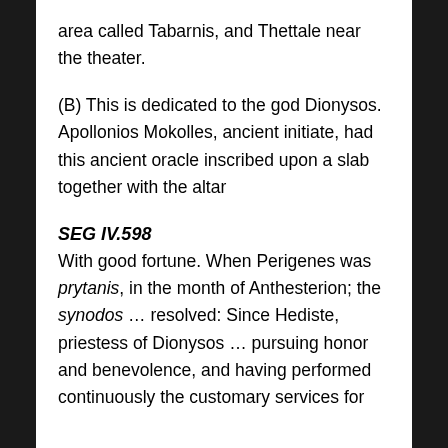area called Tabarnis, and Thettale near the theater.
(B) This is dedicated to the god Dionysos. Apollonios Mokolles, ancient initiate, had this ancient oracle inscribed upon a slab together with the altar
SEG IV.598
With good fortune. When Perigenes was prytanis, in the month of Anthesterion; the synodos … resolved: Since Hediste, priestess of Dionysos … pursuing honor and benevolence, and having performed continuously the customary services for